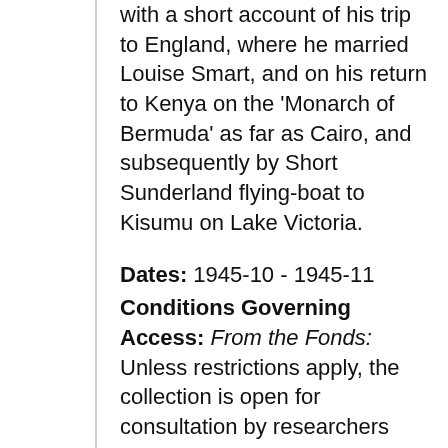with a short account of his trip to England, where he married Louise Smart, and on his return to Kenya on the 'Monarch of Bermuda' as far as Cairo, and subsequently by Short Sunderland flying-boat to Kisumu on Lake Victoria.
Dates: 1945-10 - 1945-11
Conditions Governing Access: From the Fonds: Unless restrictions apply, the collection is open for consultation by researchers using the Manuscripts Reading Room at Cambridge University Library. For further details on conditions governing